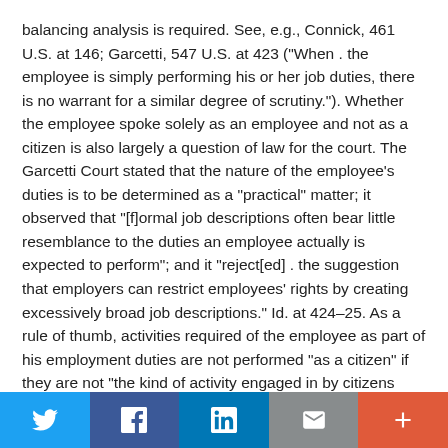balancing analysis is required. See, e.g., Connick, 461 U.S. at 146; Garcetti, 547 U.S. at 423 ("When . the employee is simply performing his or her job duties, there is no warrant for a similar degree of scrutiny."). Whether the employee spoke solely as an employee and not as a citizen is also largely a question of law for the court. The Garcetti Court stated that the nature of the employee's duties is to be determined as a "practical" matter; it observed that "[f]ormal job descriptions often bear little resemblance to the duties an employee actually is expected to perform"; and it "reject[ed] . the suggestion that employers can restrict employees' rights by creating excessively broad job descriptions." Id. at 424–25. As a rule of thumb, activities required of the employee as part of his employment duties are not performed "as a citizen" if they are not "the kind of activity engaged in by citizens who do not work for the